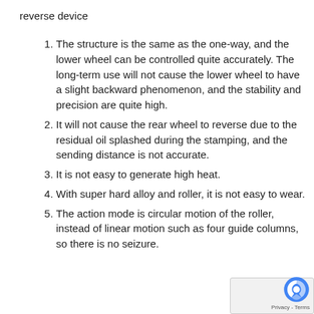reverse device
The structure is the same as the one-way, and the lower wheel can be controlled quite accurately. The long-term use will not cause the lower wheel to have a slight backward phenomenon, and the stability and precision are quite high.
It will not cause the rear wheel to reverse due to the residual oil splashed during the stamping, and the sending distance is not accurate.
It is not easy to generate high heat.
With super hard alloy and roller, it is not easy to wear.
The action mode is circular motion of the roller, instead of linear motion such as four guide columns, so there is no seizure.